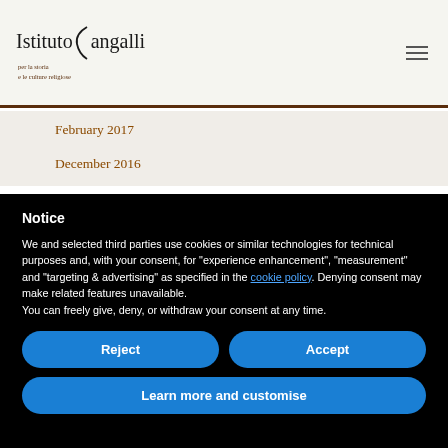Istituto Sangalli per la storia e le culture religiose
February 2017
December 2016
Notice
We and selected third parties use cookies or similar technologies for technical purposes and, with your consent, for "experience enhancement", "measurement" and "targeting & advertising" as specified in the cookie policy. Denying consent may make related features unavailable.
You can freely give, deny, or withdraw your consent at any time.
Reject
Accept
Learn more and customise